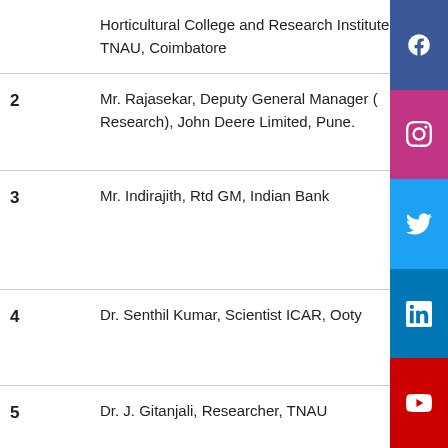| No. | Resource Person | Type | Topic |
| --- | --- | --- | --- |
|  | Horticultural College and Research Institute, TNAU, Coimbatore | Guest Lecture | Recent Tr... Farm Implemen... |
| 2 | Mr. Rajasekar, Deputy General Manager (Research), John Deere Limited, Pune. | Guest Lecture | Recent Tr... Farm Implemen... |
| 3 | Mr. Indirajith, Rtd GM, Indian Bank | Guest Lecture | Employment Opportuni... Agricultural Engineering... |
| 4 | Dr. Senthil Kumar, Scientist ICAR, Ooty | Guest Lecture | Latest Tre... Farm Mac... and Powe... |
| 5 | Dr. J. Gitanjali, Researcher, TNAU | Guest Lecture | Bio – mass Conversion Techno... |